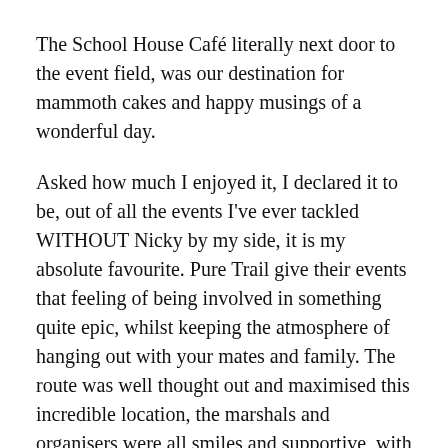The School House Café literally next door to the event field, was our destination for mammoth cakes and happy musings of a wonderful day.
Asked how much I enjoyed it, I declared it to be, out of all the events I've ever tackled WITHOUT Nicky by my side, it is my absolute favourite. Pure Trail give their events that feeling of being involved in something quite epic, whilst keeping the atmosphere of hanging out with your mates and family. The route was well thought out and maximised this incredible location, the marshals and organisers were all smiles and supportive, with so many experienced trail and ultra runners on the 'staff' for the day, the participants were more than safe and catered for.